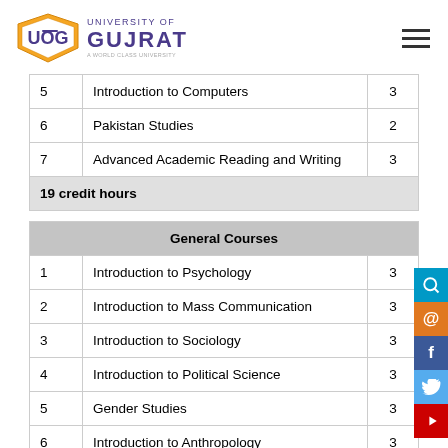University of Gujrat
| # | Course | Credits |
| --- | --- | --- |
| 5 | Introduction to Computers | 3 |
| 6 | Pakistan Studies | 2 |
| 7 | Advanced Academic Reading and Writing | 3 |
|  | 19 credit hours |  |
| General Courses |
| --- |
| 1 | Introduction to Psychology | 3 |
| 2 | Introduction to Mass Communication | 3 |
| 3 | Introduction to Sociology | 3 |
| 4 | Introduction to Political Science | 3 |
| 5 | Gender Studies | 3 |
| 6 | Introduction to Anthropology | 3 |